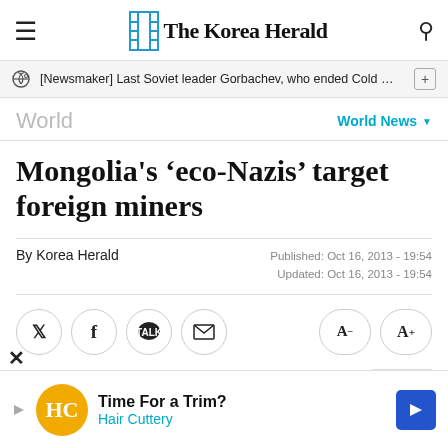The Korea Herald
[Newsmaker] Last Soviet leader Gorbachev, who ended Cold Wa…
World
Mongolia's 'eco-Nazis' target foreign miners
By Korea Herald
Published: Oct 16, 2013 - 19:54
Updated: Oct 16, 2013 - 19:54
ULAN BATOR (AFP) — A silver swastika
[Figure (other): Advertisement banner for Hair Cuttery - Time For a Trim?]